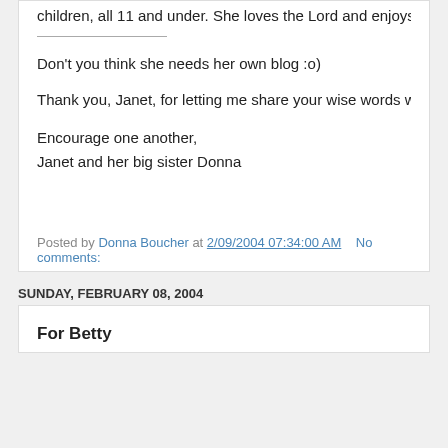children, all 11 and under. She loves the Lord and enjoys servi
Don't you think she needs her own blog :o)
Thank you, Janet, for letting me share your wise words with the
Encourage one another,
Janet and her big sister Donna
Posted by Donna Boucher at 2/09/2004 07:34:00 AM    No comments:
SUNDAY, FEBRUARY 08, 2004
For Betty